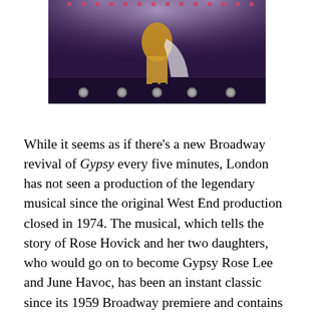[Figure (photo): A theatrical stage photo showing a performer in a gold/yellow outfit on a dark stage with purple/violet lighting and stage floor lights visible at the bottom.]
While it seems as if there's a new Broadway revival of Gypsy every five minutes, London has not seen a production of the legendary musical since the original West End production closed in 1974. The musical, which tells the story of Rose Hovick and her two daughters, who would go on to become Gypsy Rose Lee and June Havoc, has been an instant classic since its 1959 Broadway premiere and contains one of the all-time great musical theatre leading roles. When I learned that Imelda Staunton would be headlining the first London revival in over 40 years, I decided to book my flight.
This new West End production is an import from the